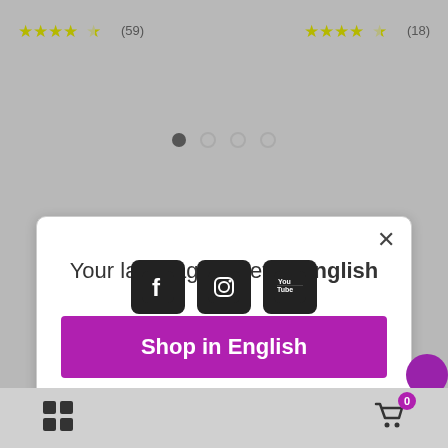[Figure (screenshot): Star ratings row: left side shows 4.5 stars (59 reviews), right side shows 4.5 stars (18 reviews)]
[Figure (screenshot): Pagination dots: one filled black dot and three empty circles]
[Figure (screenshot): Modal dialog with close button, title 'Your language is set to English', purple 'Shop in English' button, and 'Change language' underlined link]
[Figure (screenshot): Social media icons row: Facebook, Instagram, YouTube]
[Figure (screenshot): Bottom navigation bar with grid icon on left and shopping cart (badge 0) on right]